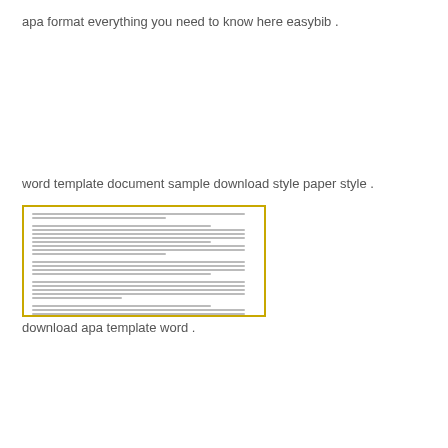apa format everything you need to know here easybib .
word template document sample download style paper style .
[Figure (screenshot): A thumbnail preview of an APA format Word document with a gold/yellow border, showing dense text content in a document layout.]
download apa template word .